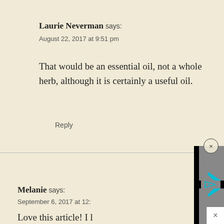Laurie Neverman says:
August 22, 2017 at 9:51 pm
That would be an essential oil, not a whole herb, although it is certainly a useful oil.
Reply
[Figure (screenshot): Video player overlay showing a cyan/teal play button logo on a grey background with black bars on the sides, with a close (x) circle button at top and an x button at bottom right]
Melanie says:
September 6, 2017 at 12:
Love this article! I l
early on with a cold–do you know anything about the medicinal properties of oregano?